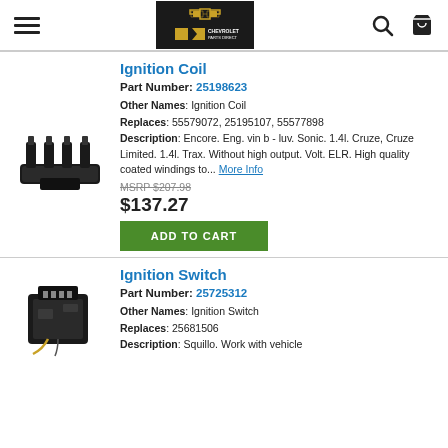Chevrolet Parts Direct — navigation header with menu, logo, search, and cart icons
Ignition Coil
Part Number: 25198623
Other Names: Ignition Coil
Replaces: 55579072, 25195107, 55577898
Description: Encore. Eng. vin b - luv. Sonic. 1.4l. Cruze, Cruze Limited. 1.4l. Trax. Without high output. Volt. ELR. High quality coated windings to... More Info
MSRP $207.98
$137.27
ADD TO CART
Ignition Switch
Part Number: 25725312
Other Names: Ignition Switch
Replaces: 25681506
Description: Squillo. Work with vehicle